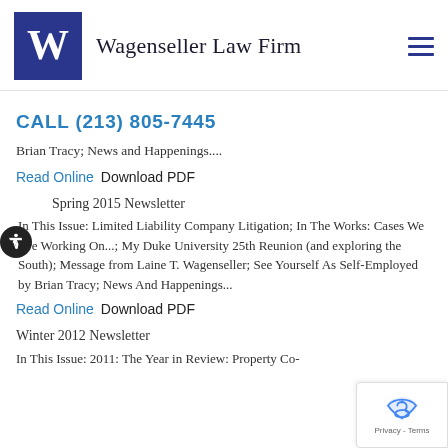Wagenseller Law Firm
CALL (213) 805-7445
Brian Tracy; News and Happenings....
Read Online  Download PDF
Spring 2015 Newsletter
In This Issue: Limited Liability Company Litigation; In The Works: Cases We Are Working On...; My Duke University 25th Reunion (and exploring the South); Message from Laine T. Wagenseller; See Yourself As Self-Employed by Brian Tracy; News And Happenings...
Read Online  Download PDF
Winter 2012 Newsletter
In This Issue: 2011: The Year in Review: Property Co-